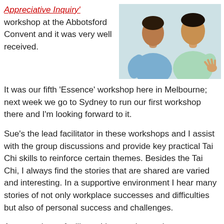Appreciative Inquiry' workshop at the Abbotsford Convent and it was very well received.
[Figure (photo): Two men in conversation, one in blue shirt facing away, one in light green shirt gesturing with hands]
It was our fifth ‘Essence’ workshop here in Melbourne; next week we go to Sydney to run our first workshop there and I’m looking forward to it.
Sue’s the lead facilitator in these workshops and I assist with the group discussions and provide key practical Tai Chi skills to reinforce certain themes. Besides the Tai Chi, I always find the stories that are shared are varied and interesting. In a supportive environment I hear many stories of not only workplace successes and difficulties but also of personal success and challenges.
As an assistant facilitator I have to be ready to step up when required and react in a moment’s time if there is a need to change direction. So that requires patience and focus but it's never boring.